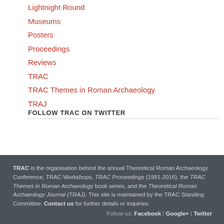Lightnight Round
Museums
Posters
Proceedings
Reviews
TRAC
TRAC Themes in Roman Archaeology
TRAJ
FOLLOW TRAC ON TWITTER
My Tweets
TRAC is the organisation behind the annual Theoretical Roman Archaeology Conference, TRAC Workshops, TRAC Proceedings (1991-2016), the TRAC Themes in Roman Archaeology book series, and the Theoretical Roman Archaeology Journal (TRAJ). This site is maintained by the TRAC Standing Committee. Contact us for further details or inquiries. Follow us: Facebook | Google+ | Twitter